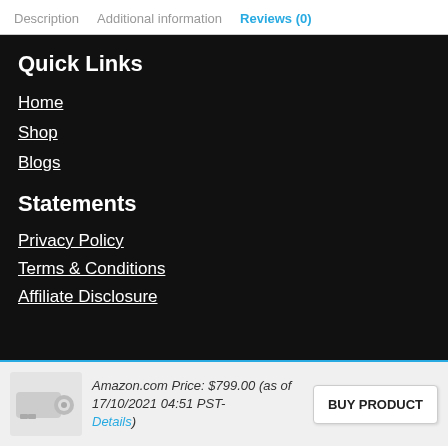Description  Additional information  Reviews (0)
Quick Links
Home
Shop
Blogs
Statements
Privacy Policy
Terms & Conditions
Affiliate Disclosure
Amazon.com Price: $799.00 (as of 17/10/2021 04:51 PST- Details)
BUY PRODUCT